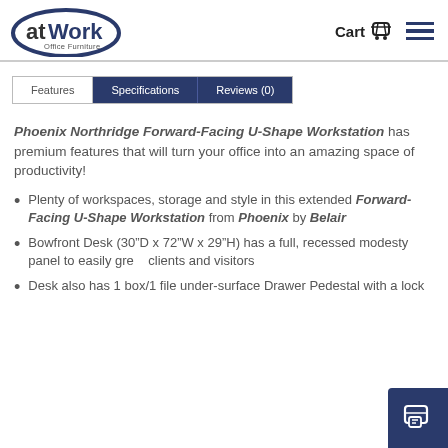atWork Office Furniture — Cart [icon] [menu icon]
Features | Specifications | Reviews (0)
Phoenix Northridge Forward-Facing U-Shape Workstation has premium features that will turn your office into an amazing space of productivity!
Plenty of workspaces, storage and style in this extended Forward-Facing U-Shape Workstation from Phoenix by Belair
Bowfront Desk (30"D x 72"W x 29"H) has a full, recessed modesty panel to easily greet clients and visitors
Desk also has 1 box/1 file under-surface Drawer Pedestal with a lock